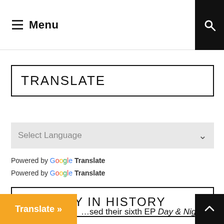Menu
TRANSLATE
Select Language
Powered by Google Translate
Powered by Google Translate
THIS DAY IN HISTORY
…sed their sixth EP Day & Night
Translate »